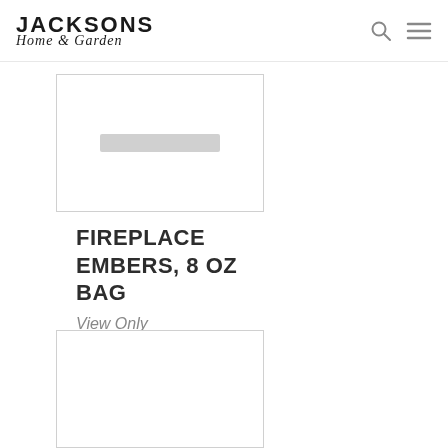Jacksons Home & Garden
[Figure (other): Product image placeholder box (top) with gray rectangle inside]
FIREPLACE EMBERS, 8 OZ BAG
View Only
[Figure (other): Product image placeholder box (bottom), empty white area with border]